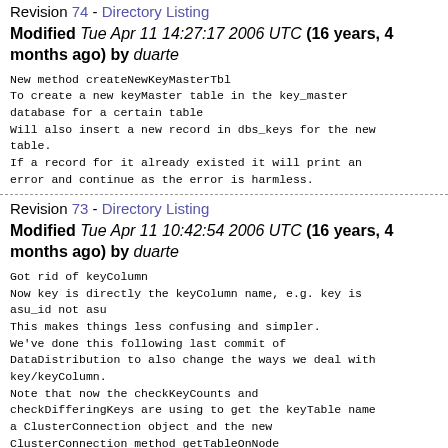Revision 74 - Directory Listing
Modified Tue Apr 11 14:27:17 2006 UTC (16 years, 4 months ago) by duarte
New method createNewKeyMasterTbl
To create a new keyMaster table in the key_master database for a certain table
Will also insert a new record in dbs_keys for the new table.
If a record for it already existed it will print an error and continue as the error is harmless.
Revision 73 - Directory Listing
Modified Tue Apr 11 10:42:54 2006 UTC (16 years, 4 months ago) by duarte
Got rid of keyColumn
Now key is directly the keyColumn name, e.g. key is asu_id not asu
This makes things less confusing and simpler.
We've done this following last commit of DataDistribution to also change the ways we deal with key/keyColumn.
Note that now the checkKeyCounts and checkDifferingKeys are using to get the keyTable name a ClusterConnection object and the new ClusterConnection method getTableOnNode
Revision 72 - Directory Listing
Modified Tue Apr 11 10:29:39 2006 UTC (16 years, 4